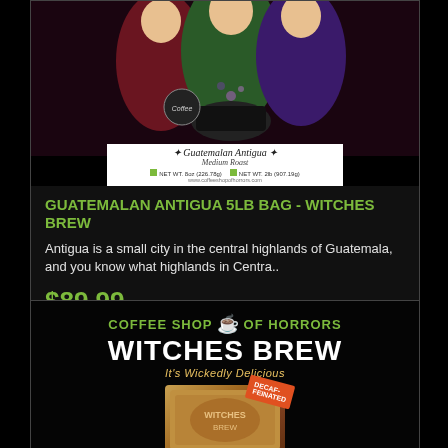[Figure (photo): Product image of Guatemalan Antigua 5lb Bag - Witches Brew coffee with illustrated witches around a cauldron and product label]
GUATEMALAN ANTIGUA 5LB BAG - WITCHES BREW
Antigua is a small city in the central highlands of Guatemala, and you know what highlands in Centra..
$89.99
[Figure (logo): Coffee Shop of Horrors - Witches Brew It's Wickedly Delicious product image with decaffeinated badge]